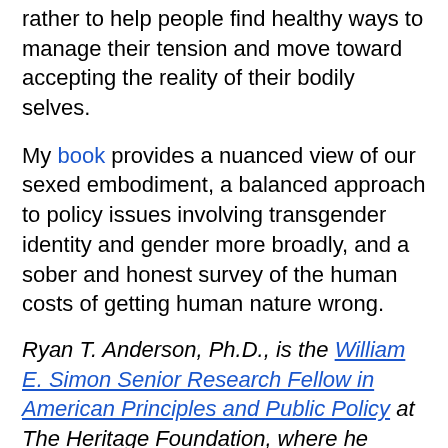rather to help people find healthy ways to manage their tension and move toward accepting the reality of their bodily selves.
My book provides a nuanced view of our sexed embodiment, a balanced approach to policy issues involving transgender identity and gender more broadly, and a sober and honest survey of the human costs of getting human nature wrong.
Ryan T. Anderson, Ph.D., is the William E. Simon Senior Research Fellow in American Principles and Public Policy at The Heritage Foundation, where he researches and writes